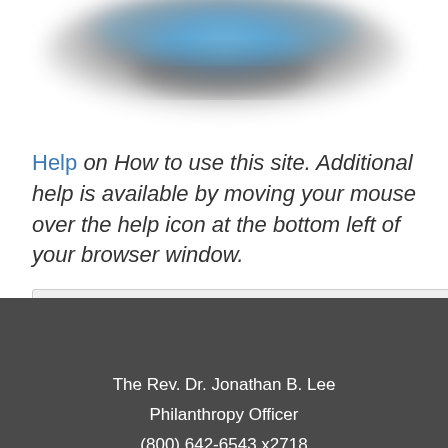[Figure (screenshot): Blurred screenshot of a website interface at the top of the page]
Help on How to use this site. Additional help is available by moving your mouse over the help icon at the bottom left of your browser window.
[Figure (infographic): Toolbar with Share, Print, and PDF action buttons with icons]
The Rev. Dr. Jonathan B. Lee
Philanthropy Officer
(800) 642-6543 x2718
© Copyright 2022 by Sharpe Group. All Rights Reserved.